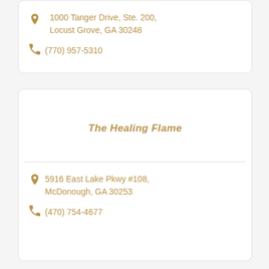1000 Tanger Drive, Ste. 200, Locust Grove, GA 30248
(770) 957-5310
The Healing Flame
5916 East Lake Pkwy #108, McDonough, GA 30253
(470) 754-4677